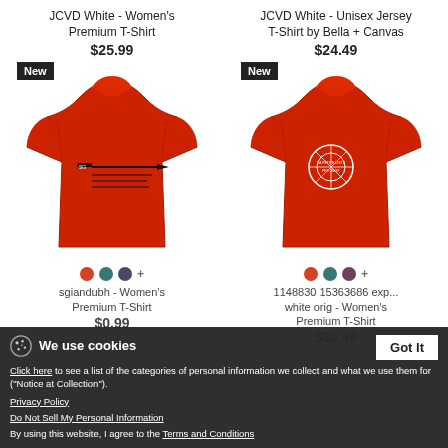JCVD White - Women's Premium T-Shirt
$25.99
[Figure (photo): Red women's premium T-shirt with black graphic design (sgiandubh design), 'New' badge in top-left corner]
JCVD White - Unisex Jersey T-Shirt by Bella + Canvas
$24.49
[Figure (photo): Red women's T-shirt with white circular logo design, 'New' badge in top-left corner]
sgiandubh - Women's Premium T-Shirt
$0.99
1148830 15363686 exp... white orig - Women's Premium T-Shirt
$30.49
We use cookies
Click here to see a list of the categories of personal information we collect and what we use them for ("Notice at Collection").
Privacy Policy
Do Not Sell My Personal Information
By using this website, I agree to the Terms and Conditions